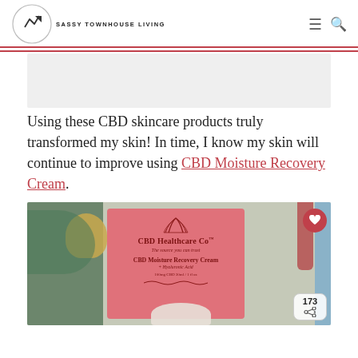SASSY TOWNHOUSE LIVING
[Figure (photo): Ad placeholder block, light gray rectangle]
Using these CBD skincare products truly transformed my skin! In time, I know my skin will continue to improve using CBD Moisture Recovery Cream.
[Figure (photo): Product photo of CBD Healthcare Co CBD Moisture Recovery Cream box (pink packaging) with plant leaves in background, a gold pot, blue bottle, and white cream jar. Heart button and 173 share counter overlay.]